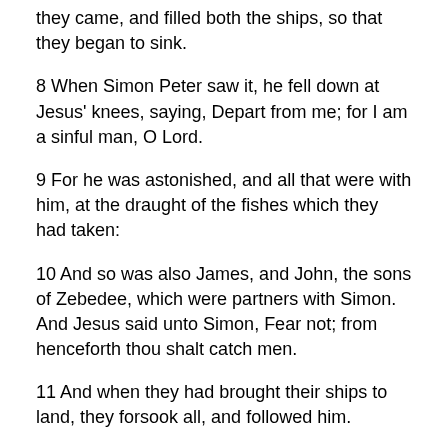they came, and filled both the ships, so that they began to sink.
8 When Simon Peter saw it, he fell down at Jesus' knees, saying, Depart from me; for I am a sinful man, O Lord.
9 For he was astonished, and all that were with him, at the draught of the fishes which they had taken:
10 And so was also James, and John, the sons of Zebedee, which were partners with Simon. And Jesus said unto Simon, Fear not; from henceforth thou shalt catch men.
11 And when they had brought their ships to land, they forsook all, and followed him.
12 And it came to pass, when he was in a certain city, behold a man full of leprosy: who seeing, Jesus fell on his